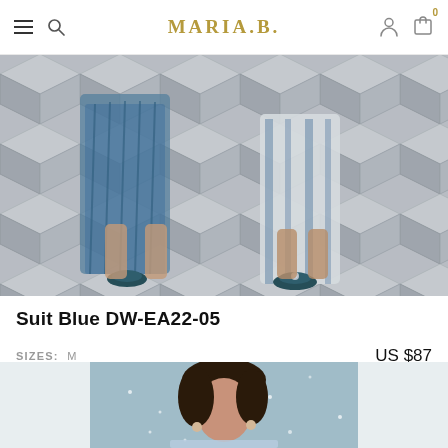MARIA.B.
[Figure (photo): Close-up photo of two women's lower bodies wearing blue Pakistani suits standing on a geometric grey and white tile floor, wearing dark teal jeweled heels]
Suit Blue DW-EA22-05
SIZES: M   US $87
[Figure (photo): Photo of a woman with dark hair wearing a light blue embellished Pakistani suit, standing in front of an ornate white arched backdrop with sparkly decor]